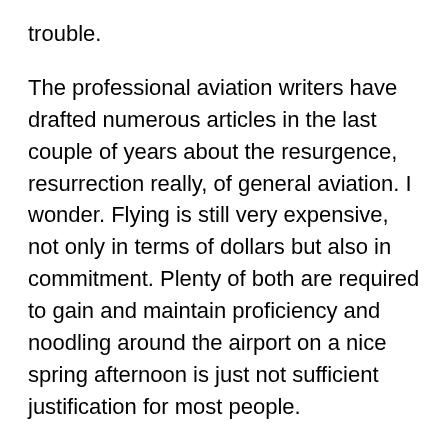trouble.
The professional aviation writers have drafted numerous articles in the last couple of years about the resurgence, resurrection really, of general aviation. I wonder. Flying is still very expensive, not only in terms of dollars but also in commitment. Plenty of both are required to gain and maintain proficiency and noodling around the airport on a nice spring afternoon is just not sufficient justification for most people.
Airplanes are traveling machines, but the 100-mile trip has been taken away by 75